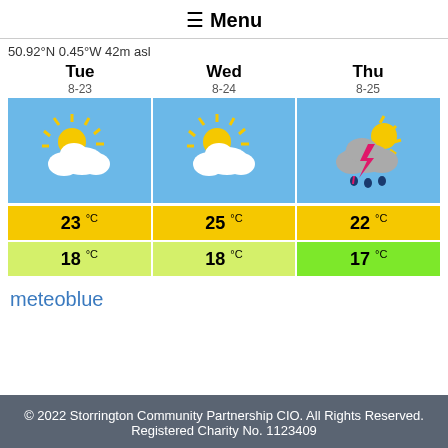≡ Menu
50.92°N 0.45°W 42m asl
| Tue 8-23 | Wed 8-24 | Thu 8-25 |
| --- | --- | --- |
| [sunny/cloudy icon] | [sunny/cloudy icon] | [thunderstorm icon] |
| 23 °C | 25 °C | 22 °C |
| 18 °C | 18 °C | 17 °C |
meteoblue
© 2022 Storrington Community Partnership CIO. All Rights Reserved. Registered Charity No. 1123409